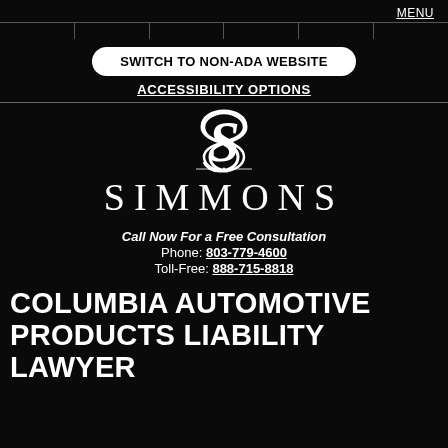MENU
SWITCH TO NON-ADA WEBSITE
ACCESSIBILITY OPTIONS
[Figure (logo): Simmons law firm logo: stylized 'S' monogram above a horizontal decorative line, with 'SIMMONS' in spaced serif letters below]
Call Now For a Free Consultation
Phone: 803-779-4600
Toll-Free: 888-715-8818
COLUMBIA AUTOMOTIVE PRODUCTS LIABILITY LAWYER